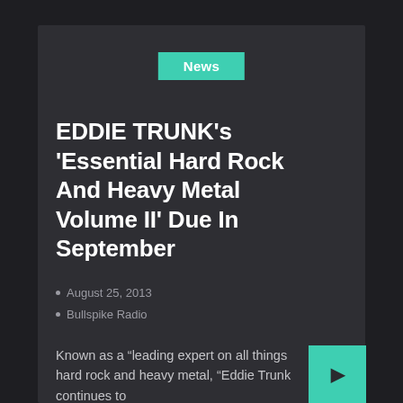News
EDDIE TRUNK's 'Essential Hard Rock And Heavy Metal Volume II' Due In September
August 25, 2013
Bullspike Radio
Known as a “leading expert on all things hard rock and heavy metal, “Eddie Trunk continues to